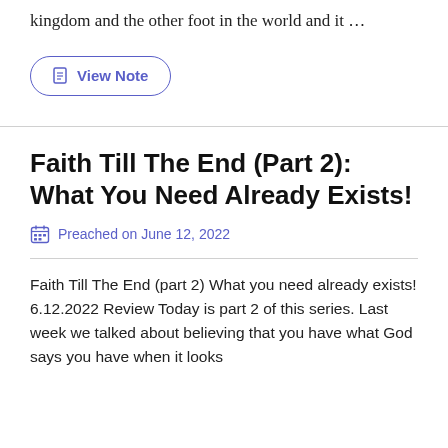kingdom and the other foot in the world and it ...
View Note
Faith Till The End (Part 2): What You Need Already Exists!
Preached on June 12, 2022
Faith Till The End (part 2) What you need already exists! 6.12.2022 Review Today is part 2 of this series. Last week we talked about believing that you have what God says you have when it looks